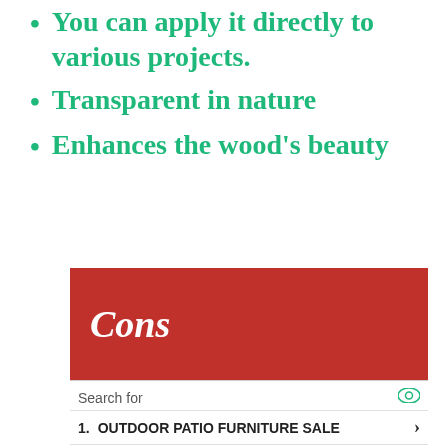You can apply it directly to various projects.
Transparent in nature
Enhances the wood's beauty
Cons
Search for
1. OUTDOOR PATIO FURNITURE SALE
2. HOW TO CLEAN WOOD FURNITURE
Yahoo! Search | Sponsored